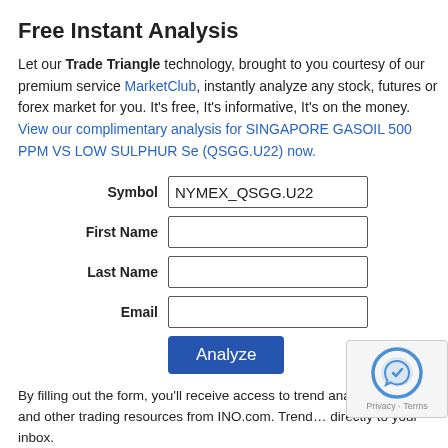Free Instant Analysis
Let our Trade Triangle technology, brought to you courtesy of our premium service MarketClub, instantly analyze any stock, futures or forex market for you. It's free, It's informative, It's on the money. View our complimentary analysis for SINGAPORE GASOIL 500 PPM VS LOW SULPHUR Se... (QSGG.U22) now.
Symbol: NYMEX_QSGG.U22
First Name: [input]
Last Name: [input]
Email: [input]
Analyze [button]
By filling out the form, you'll receive access to trend analysis, videos, and other trading resources from INO.com. Trend... directly to your inbox.